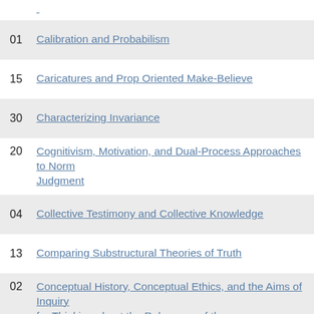01 Calibration and Probabilism
15 Caricatures and Prop Oriented Make-Believe
30 Characterizing Invariance
20 Cognitivism, Motivation, and Dual-Process Approaches to Normative Judgment
04 Collective Testimony and Collective Knowledge
13 Comparing Substructural Theories of Truth
02 Conceptual History, Conceptual Ethics, and the Aims of Inquiry for Thinking about the Relevance of the History/Genealogy of Concepts to Normative Inquiry
14 Conceptualizing Kant’s Mereology
07 Consciousness as Inner Sensation: Crusius and Kant
28 Consciousness Science Underdetermined: A Short History of Em...